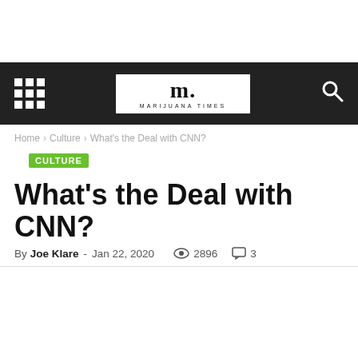Marijuana Times — navigation bar with grid menu icon, logo, and search icon
Home › Culture › What's the Deal with CNN?
CULTURE
What's the Deal with CNN?
By Joe Klare - Jan 22, 2020  2896  3